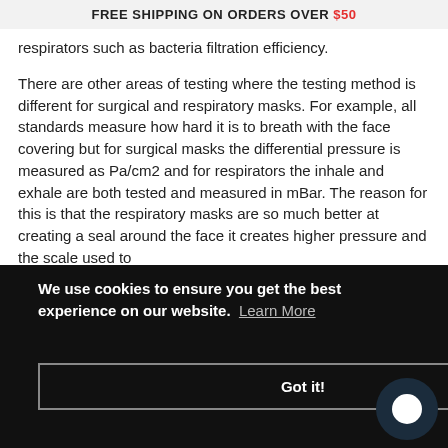FREE SHIPPING ON ORDERS OVER $50
respirators such as bacteria filtration efficiency.
There are other areas of testing where the testing method is different for surgical and respiratory masks. For example, all standards measure how hard it is to breath with the face covering but for surgical masks the differential pressure is measured as Pa/cm2 and for respirators the inhale and exhale are both tested and measured in mBar. The reason for this is that the respiratory masks are so much better at creating a seal around the face it creates higher pressure and the scale used to
We use cookies to ensure you get the best experience on our website. Learn More
Got it!